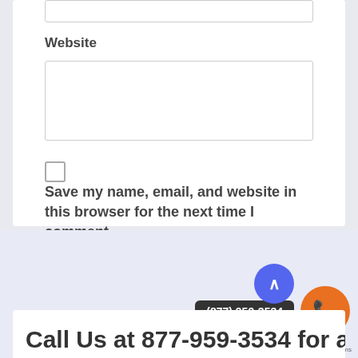Website
[Figure (screenshot): Website input field (text box)]
Save my name, email, and website in this browser for the next time I comment.
[Figure (screenshot): Post Comment button (blue rounded rectangle)]
(877) 959-3534
Call Us at 877-959-3534 for a